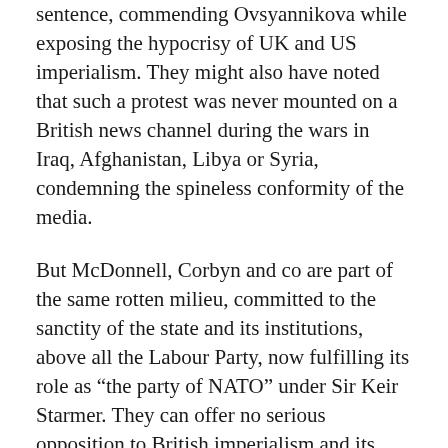sentence, commending Ovsyannikova while exposing the hypocrisy of UK and US imperialism. They might also have noted that such a protest was never mounted on a British news channel during the wars in Iraq, Afghanistan, Libya or Syria, condemning the spineless conformity of the media.
But McDonnell, Corbyn and co are part of the same rotten milieu, committed to the sanctity of the state and its institutions, above all the Labour Party, now fulfilling its role as “the party of NATO” under Sir Keir Starmer. They can offer no serious opposition to British imperialism and its warmongering and therefore no defence of democratic rights, which will be increasingly curtailed as the war crisis and its domestic implications worsen.
Resistance to these measures will come from an independent movement of the working class. WikiLeaks and its concerns as recently demonstrated them